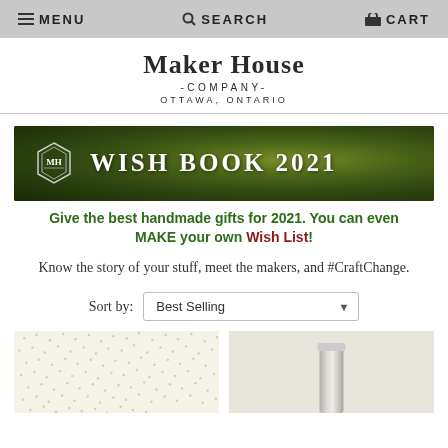MENU  SEARCH  CART
Maker House Company Ottawa, Ontario
[Figure (infographic): Dark green nature-themed banner with hexagonal MH badge logo and text WISH BOOK 2021 in white serif letters]
Give the best handmade gifts for 2021. You can even MAKE your own Wish List!
Know the story of your stuff, meet the makers, and #CraftChange.
Sort by: Best Selling
[Figure (photo): Product thumbnail - cream/ivory fabric with small dot pattern]
[Figure (photo): Product thumbnail - white/silver cylindrical container on light background]